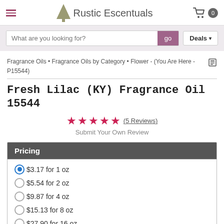Rustic Escentuals
What are you looking for? go | Deals
Fragrance Oils • Fragrance Oils by Category • Flower - (You Are Here - P15544)
Fresh Lilac (KY) Fragrance Oil 15544
★★★★★ (5 Reviews)
Submit Your Own Review
| Pricing |
| --- |
| $3.17 for 1 oz |
| $5.54 for 2 oz |
| $9.87 for 4 oz |
| $15.13 for 8 oz |
| $27.90 for 16 oz |